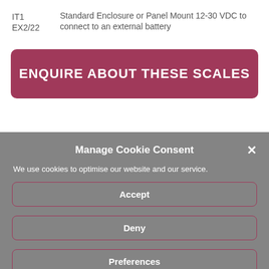IT1    Standard Enclosure or Panel Mount 12-30 VDC to
EX2/22    connect to an external battery
ENQUIRE ABOUT THESE SCALES
Manage Cookie Consent
We use cookies to optimise our website and our service.
Accept
Deny
Preferences